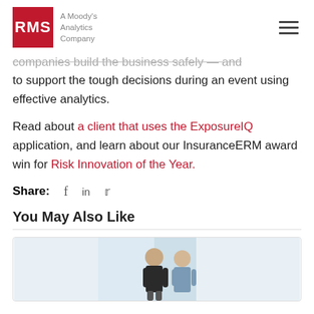RMS — A Moody's Analytics Company
companies build the business safely — and to support the tough decisions during an event using effective analytics.
Read about a client that uses the ExposureIQ application, and learn about our InsuranceERM award win for Risk Innovation of the Year.
Share: [facebook] [linkedin] [twitter]
You May Also Like
[Figure (photo): A photo showing two people in a bright office environment, partially visible at the bottom of the page.]